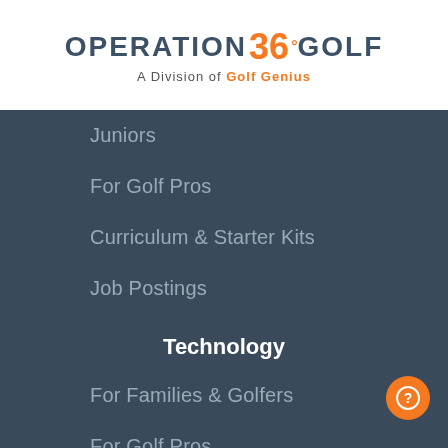OPERATION 36° GOLF — A Division of Golf Genius
Juniors
For Golf Pros
Curriculum & Starter Kits
Job Postings
Technology
For Families & Golfers
For Golf Pros
Junior Development Model
Academy Display
Our Company
Resources